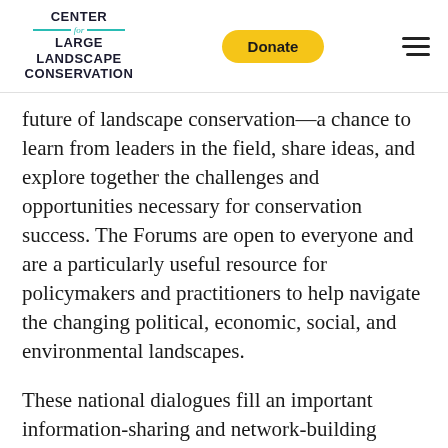CENTER for LARGE LANDSCAPE CONSERVATION | Donate | [menu]
future of landscape conservation—a chance to learn from leaders in the field, share ideas, and explore together the challenges and opportunities necessary for conservation success. The Forums are open to everyone and are a particularly useful resource for policymakers and practitioners to help navigate the changing political, economic, social, and environmental landscapes.
These national dialogues fill an important information-sharing and network-building niche by engaging policy leaders from a broad and diverse spectrum of